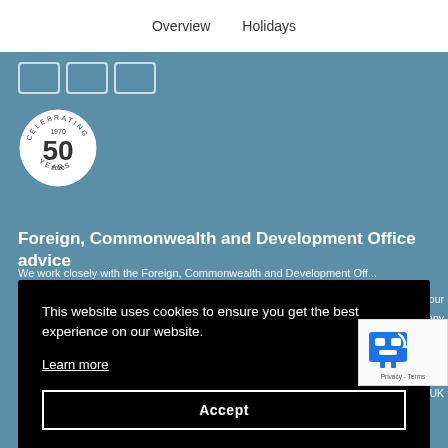Overview    Holidays
[Figure (screenshot): Three tab/browser-style icons at top-left of blue section]
[Figure (logo): Celebrating 50 years circular anniversary badge, 1970-2020]
Foreign, Commonwealth and Development Office advice
Partial text partially visible behind cookie overlay
[Figure (other): Cookie consent overlay popup on black background with text: This website uses cookies to ensure you get the best experience on our website. Learn more. Accept button.]
[Figure (other): reCAPTCHA badge with robot icon, Privacy - Terms text]
Destinations